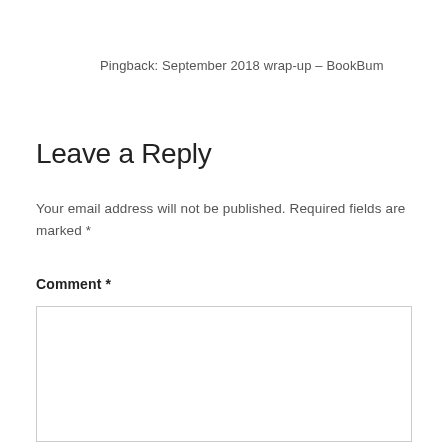Pingback: September 2018 wrap-up – BookBum
Leave a Reply
Your email address will not be published. Required fields are marked *
Comment *